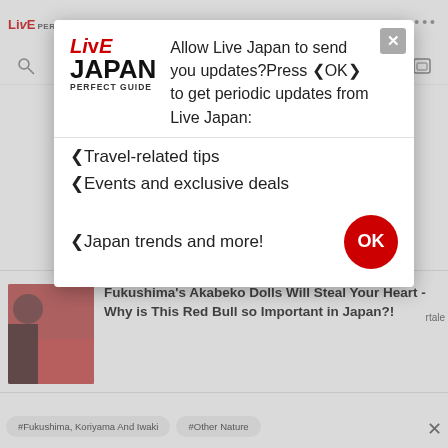LIVE JAPAN PERFECT GUIDE
[Figure (screenshot): Browser notification permission modal dialog for Live Japan website, showing logo, description text, bullet list items, and OK button]
Allow Live Japan to send you updates?Press ‹OK› to get periodic updates from Live Japan:
•Travel-related tips
•Events and exclusive deals
•Japan trends and more!
Fukushima's Akabeko Dolls Will Steal Your Heart - Why is This Red Bull so Important in Japan?!
#Fukushima, Koriyama And Iwaki
#Other Nature